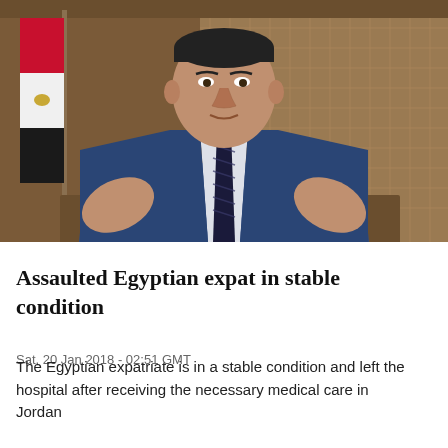[Figure (photo): A man in a blue suit and dark tie seated at a desk, gesturing with both hands, with an Egyptian flag visible to his left and decorative wall panels behind him.]
Assaulted Egyptian expat in stable condition
Sat, 20 Jan 2018 - 02:51 GMT
The Egyptian expatriate is in a stable condition and left the hospital after receiving the necessary medical care in Jordan